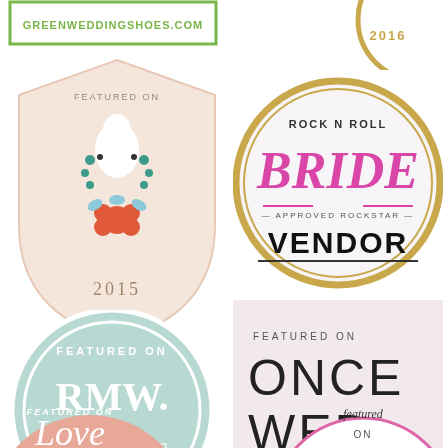[Figure (logo): Green Wedding Shoes badge - rectangular green border with text GREENWEDDINGSHOES.COM]
[Figure (logo): Gold circular badge partially visible, year 2016]
[Figure (logo): Featured On shield badge with bride silhouette, floral wreath, and year 2015]
[Figure (logo): Rock N Roll BRIDE Approved Rockstar VENDOR circular badge with gold border]
[Figure (logo): FEATURED ON RMW. rock my wedding circular badge in mint/sage color]
[Figure (logo): FEATURED ON ONCE WED 2016 square badge in light pink]
[Figure (logo): FEATURED ON Love (script) circular badge in peach/salmon, partially visible]
[Figure (logo): featured on circular badge in white with pink border, partially visible]